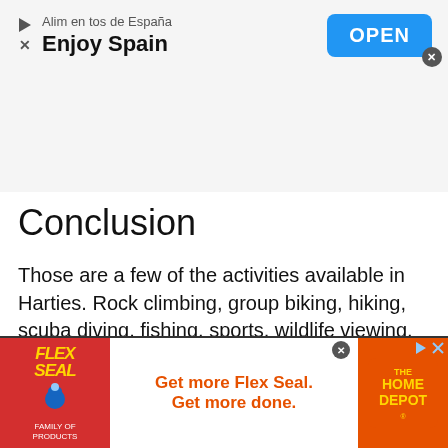[Figure (other): Top advertisement banner for 'Alimentos de España – Enjoy Spain' app with a blue OPEN button and close icon.]
Conclusion
Those are a few of the activities available in Harties. Rock climbing, group biking, hiking, scuba diving, fishing, sports, wildlife viewing, river rafting, as well as other activities are indeed available. While it is feasible to visit on a month's journey, there is always something to experience in the region that remaining for over weekends makes good
[Figure (other): Bottom advertisement banner for Flex Seal / The Home Depot: 'Get more Flex Seal. Get more done.']